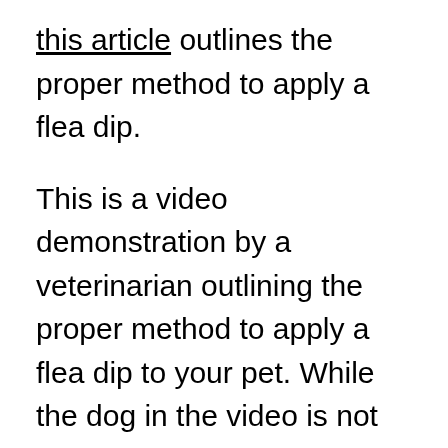this article outlines the proper method to apply a flea dip.
This is a video demonstration by a veterinarian outlining the proper method to apply a flea dip to your pet. While the dog in the video is not infested with fleas, it is a very thorough explanation of all the steps and precautions you should follow when applying a flea dip, as it can be very dangerous to both you and your pet. Ointment should first be applied to the dog's eyes to protect them from the shampoo and the flea dip. Cotton balls should also be placed in the ears to avoid